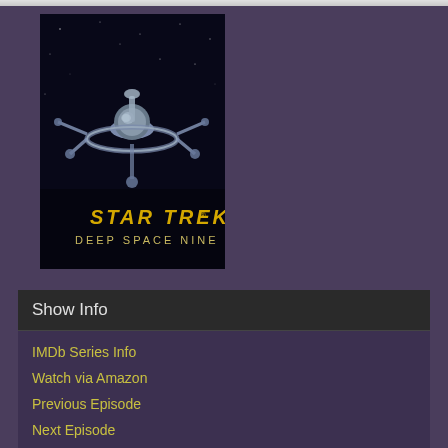[Figure (illustration): Star Trek Deep Space Nine show poster showing the space station DS9 in orbit with a dark space background. Text reads 'STAR TREK DEEP SPACE NINE' in gold and yellow lettering.]
Show Info
IMDb Series Info
Watch via Amazon
Previous Episode
Next Episode
Show Page